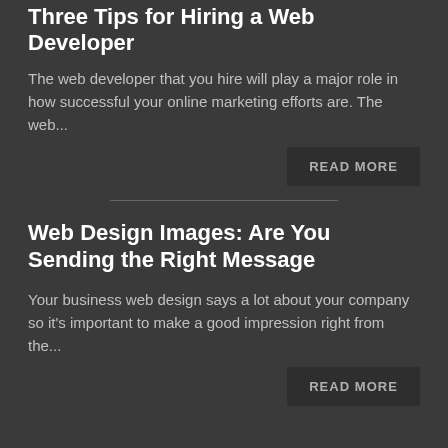Three Tips for Hiring a Web Developer
The web developer that you hire will play a major role in how successful your online marketing efforts are. The web...
READ MORE
Web Design Images: Are You Sending the Right Message
Your business web design says a lot about your company so it's important to make a good impression right from the...
READ MORE